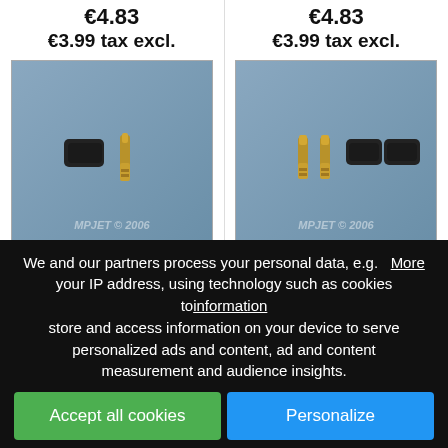€4.83
€3.99 tax excl.
€4.83
€3.99 tax excl.
[Figure (photo): Photo of MP JET gold 1.8mm dia pin connector - a gold pin and black sleeve]
[Figure (photo): Photo of MP JET gold 1.8mm dia set connector - two gold pins and two black sleeves]
Connectors MP JET gold 1,8 mm dia - pin
Connectors MP JET gold 1,8 mm dia - set
We and our partners process your personal data, e.g. your IP address, using technology such as cookies to store and access information on your device to serve personalized ads and content, ad and content measurement and audience insights.
More information
Accept all cookies
Personalize